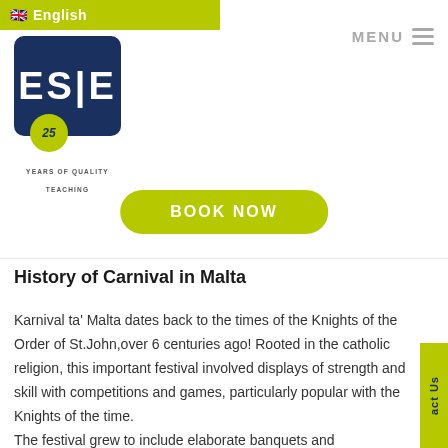English
MENU
[Figure (logo): ESE logo — dark blue rounded square with letters ESE, yellow-green circle badge with '25' and italic script, tagline YEARS OF QUALITY TEACHING]
BOOK NOW
History of Carnival in Malta
Karnival ta' Malta dates back to the times of the Knights of the Order of St.John,over 6 centuries ago! Rooted in the catholic religion, this important festival involved displays of strength and skill with competitions and games, particularly popular with the Knights of the time.
The festival grew to include elaborate banquets and masquerade balls where participants wore masks to cover their face-allowing them to 'play the fool' and enjoy the